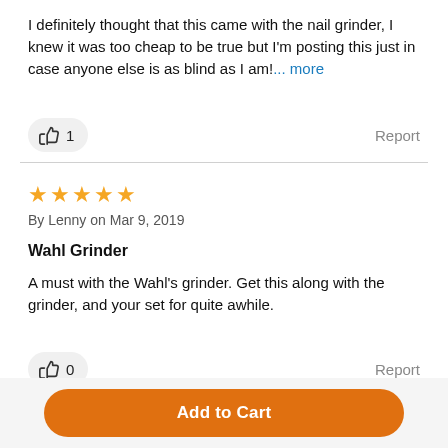I definitely thought that this came with the nail grinder, I knew it was too cheap to be true but I'm posting this just in case anyone else is as blind as I am!... more
👍 1   Report
★★★★★
By Lenny on Mar 9, 2019
Wahl Grinder
A must with the Wahl's grinder. Get this along with the grinder, and your set for quite awhile.
👍 0   Report
Add to Cart